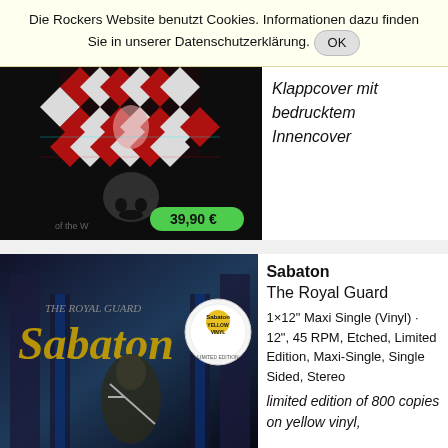Die Rockers Website benutzt Cookies. Informationen dazu finden Sie in unserer Datenschutzerklärung. OK
Klappcover mit bedrucktem Innencover
[Figure (photo): Album cover art with red/white/black checkered pattern and skull imagery, price tag showing 39,90 €]
[Figure (photo): Sabaton The Royal Guard album cover showing a knight in armor with yellow vinyl badge]
Sabaton
The Royal Guard
1×12" Maxi Single (Vinyl) ·
12", 45 RPM, Etched, Limited Edition, Maxi-Single, Single Sided, Stereo
limited edition of 800 copies on yellow vinyl,